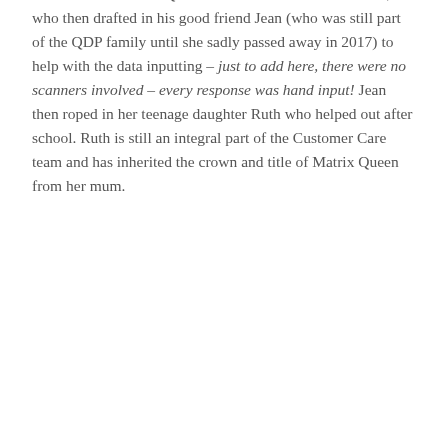one of our external advisors and has worked as Quality Manager, Vice Principal, Principal and Consultant for many colleges within the UK.
This was the birth of QDP! The team consisted of Robert, who then drafted in his good friend Jean (who was still part of the QDP family until she sadly passed away in 2017) to help with the data inputting – just to add here, there were no scanners involved – every response was hand input! Jean then roped in her teenage daughter Ruth who helped out after school. Ruth is still an integral part of the Customer Care team and has inherited the crown and title of Matrix Queen from her mum.